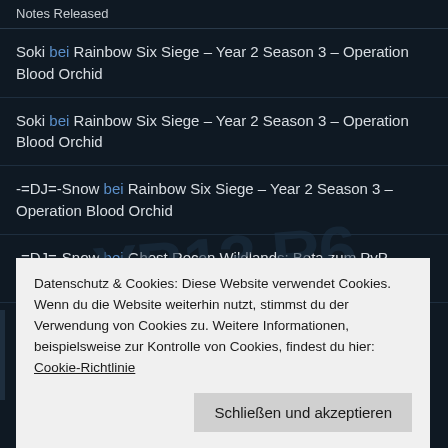Notes Released
Soki bei Rainbow Six Siege – Year 2 Season 3 – Operation Blood Orchid
Soki bei Rainbow Six Siege – Year 2 Season 3 – Operation Blood Orchid
-=DJ=-Snow bei Rainbow Six Siege – Year 2 Season 3 – Operation Blood Orchid
-=DJ=-Snow bei Ghost Recon Wildlands: Beta zum PvP-Modus Ghost War angekündigt
Datenschutz & Cookies: Diese Website verwendet Cookies. Wenn du die Website weiterhin nutzt, stimmst du der Verwendung von Cookies zu. Weitere Informationen, beispielsweise zur Kontrolle von Cookies, findest du hier: Cookie-Richtlinie
Schließen und akzeptieren